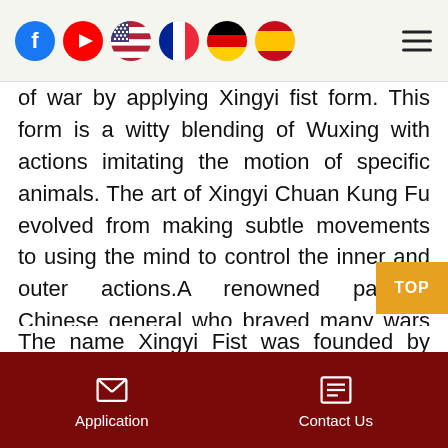Social media icons: Facebook, YouTube, US flag, French flag, German flag, Spanish flag. Hamburger menu icon.
of war by applying Xingyi fist form. This form is a witty blending of Wuxing with actions imitating the motion of specific animals. The art of Xingyi Chuan Kung Fu evolved from making subtle movements to using the mind to control the inner and outer actions.A renowned patriotic Chinese general who braved many wars found it advantageous to train and enhance his soldiers' art of war by applying Xingyi fist form. This form is a witty blending of Wuxing with actions imitating the motion of specific animals. The art of Xingyi Chuan Kung Fu evolved from making subtle movements to using the mind to control the inner and outer actions..
The name Xingyi Fist was founded by Guo
Contact Us | Application